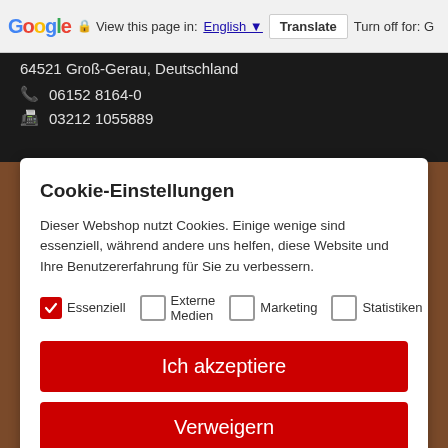Google  View this page in: English  Translate  Turn off for: G
64521 Groß-Gerau, Deutschland
06152 8164-0
03212 1055889
Cookie-Einstellungen
Dieser Webshop nutzt Cookies. Einige wenige sind essenziell, während andere uns helfen, diese Website und Ihre Benutzererfahrung für Sie zu verbessern.
Essenziell  Externe Medien  Marketing  Statistiken
Ich akzeptiere
Verweigern
Individuelle Datenschutzeinstellungen